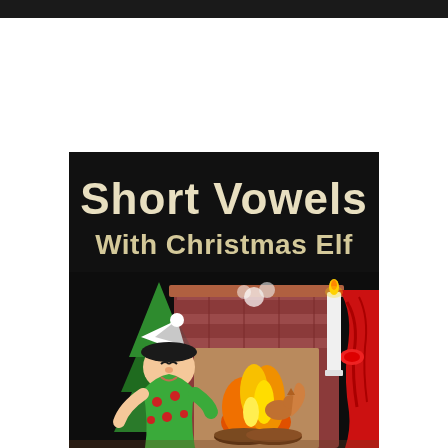[Figure (illustration): Book cover illustration showing 'Short Vowels With Christmas Elf' title text on a black background, with a colorful cartoon image of a Christmas elf sleeping by a fireplace with a Christmas tree and red curtain.]